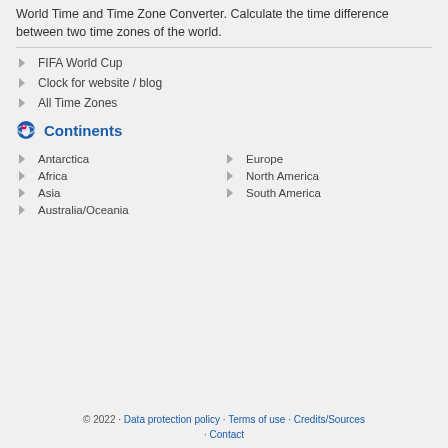World Time and Time Zone Converter. Calculate the time difference between two time zones of the world.
FIFA World Cup
Clock for website / blog
All Time Zones
Continents
Antarctica
Europe
Africa
North America
Asia
South America
Australia/Oceania
© 2022 · Data protection policy · Terms of use · Credits/Sources · Contact